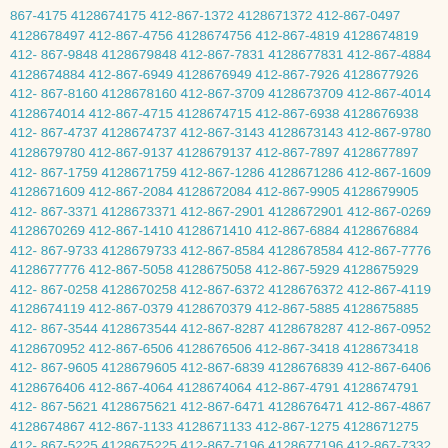867-4175 4128674175 412-867-1372 4128671372 412-867-0497 4128678497 412-867-4756 4128674756 412-867-4819 4128674819 412-867-9848 4128679848 412-867-7831 4128677831 412-867-4884 4128674884 412-867-6949 4128676949 412-867-7926 4128677926 412-867-8160 4128678160 412-867-3709 4128673709 412-867-4014 4128674014 412-867-4715 4128674715 412-867-6938 4128676938 412-867-4737 4128674737 412-867-3143 4128673143 412-867-9780 4128679780 412-867-9137 4128679137 412-867-7897 4128677897 412-867-1759 4128671759 412-867-1286 4128671286 412-867-1609 4128671609 412-867-2084 4128672084 412-867-9905 4128679905 412-867-3371 4128673371 412-867-2901 4128672901 412-867-0269 4128670269 412-867-1410 4128671410 412-867-6884 4128676884 412-867-9733 4128679733 412-867-8584 4128678584 412-867-7776 4128677776 412-867-5058 4128675058 412-867-5929 4128675929 412-867-0258 4128670258 412-867-6372 4128676372 412-867-4119 4128674119 412-867-0379 4128670379 412-867-5885 4128675885 412-867-3544 4128673544 412-867-8287 4128678287 412-867-0952 4128670952 412-867-6506 4128676506 412-867-3418 4128673418 412-867-9605 4128679605 412-867-6839 4128676839 412-867-6406 4128676406 412-867-4064 4128674064 412-867-4791 4128674791 412-867-5621 4128675621 412-867-6471 4128676471 412-867-4867 4128674867 412-867-1133 4128671133 412-867-1275 4128671275 412-867-5225 4128675225 412-867-7196 4128677196 412-867-7332 4128677332 412-867-0867 4128670867 412-867-5169 4128675169 412-867-9637 4128679637 412-867-5271 4128675271 412-867-8995 4128678995 412-867-7025 4128677025 412-867-6595 4128676595 412-867-9140 4128679140 412-867-7597 4128677597 412-867-5905